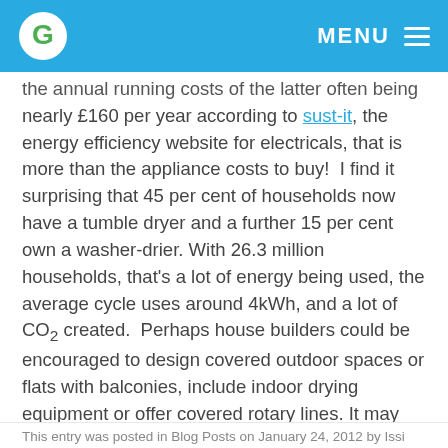MENU
the annual running costs of the latter often being nearly £160 per year according to sust-it, the energy efficiency website for electricals, that is more than the appliance costs to buy!  I find it surprising that 45 per cent of households now have a tumble dryer and a further 15 per cent own a washer-drier. With 26.3 million households, that's a lot of energy being used, the average cycle uses around 4kWh, and a lot of CO₂ created.  Perhaps house builders could be encouraged to design covered outdoor spaces or flats with balconies, include indoor drying equipment or offer covered rotary lines. It may take more than this to change our behaviour, but it would be a start.
This entry was posted in Blog Posts on January 24, 2012 by Issi